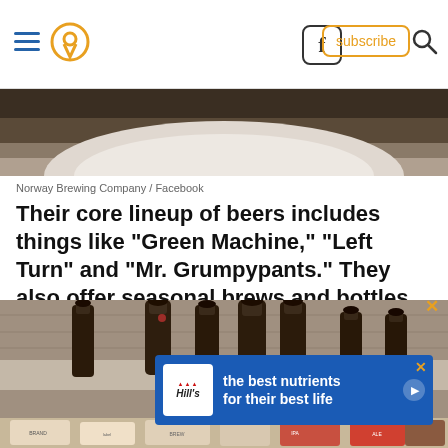Navigation header with hamburger menu, pin/location icon, Facebook icon, subscribe button, and search icon
[Figure (photo): Top portion of a bowl on a dark stone/marble surface, partial view]
Norway Brewing Company / Facebook
Their core lineup of beers includes things like "Green Machine," "Left Turn" and "Mr. Grumpypants." They also offer seasonal brews and bottles to take home.
[Figure (photo): Several dark brown beer bottles of varying heights arranged against a wooden background, with labels partially visible at bottom]
[Figure (photo): Hill's pet food advertisement banner with logo and text: the best nutrients for their best life]